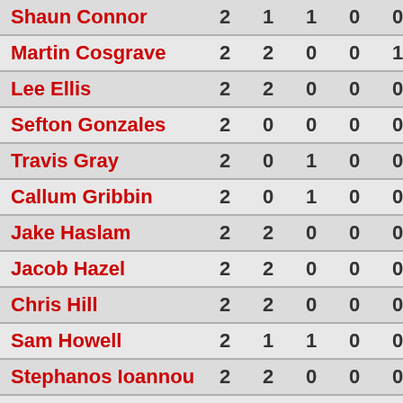| Shaun Connor | 2 | 1 | 1 | 0 | 0 | 0 |
| Martin Cosgrave | 2 | 2 | 0 | 0 | 1 | 0 |
| Lee Ellis | 2 | 2 | 0 | 0 | 0 | 0 |
| Sefton Gonzales | 2 | 0 | 0 | 0 | 0 | 0 |
| Travis Gray | 2 | 0 | 1 | 0 | 0 | 0 |
| Callum Gribbin | 2 | 0 | 1 | 0 | 0 | 0 |
| Jake Haslam | 2 | 2 | 0 | 0 | 0 | 0 |
| Jacob Hazel | 2 | 2 | 0 | 0 | 0 | 0 |
| Chris Hill | 2 | 2 | 0 | 0 | 0 | 0 |
| Sam Howell | 2 | 1 | 1 | 0 | 0 | 0 |
| Stephanos Ioannou | 2 | 2 | 0 | 0 | 0 | 0 |
| Amjad Iqbal | 2 | 0 | 1 | 0 | 0 | 0 |
| Ben Kerr | 2 | 0 | 1 | 0 | 0 | 0 |